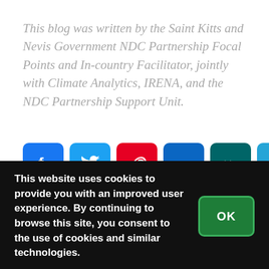This blog was written by the Saint Kitts and Nevis Government NDC Partnership Focal Points and In-country Facilitator, jointly with Climate Analytics, IRENA, and the NDC Partnership Support Unit.
[Figure (other): Row of six social media sharing icons: Facebook (blue), Twitter (light blue), Pinterest (red), LinkedIn (dark blue), XING (teal), Telegram (cyan)]
This website uses cookies to provide you with an improved user experience. By continuing to browse this site, you consent to the use of cookies and similar technologies.